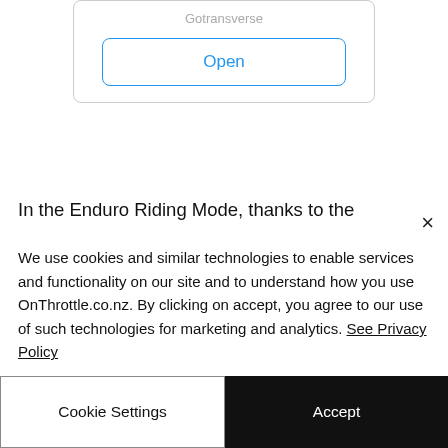Gotransverse
[Figure (screenshot): Open button with blue border inside a card]
In the Enduro Riding Mode, thanks to the reduced power and the specially designed control settings, the rider should be able to tackle the most demanding dirt roads with greater safety and makes it easier for less experienced
We use cookies and similar technologies to enable services and functionality on our site and to understand how you use OnThrottle.co.nz. By clicking on accept, you agree to our use of such technologies for marketing and analytics. See Privacy Policy
Cookie Settings
Accept